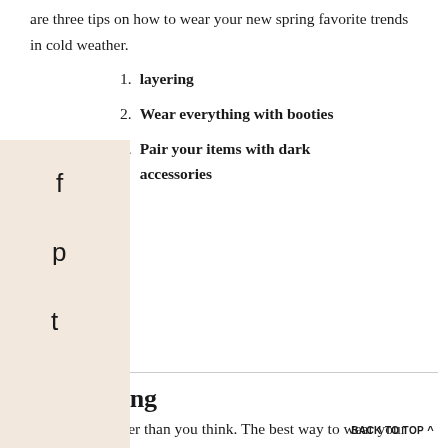are three tips on how to wear your new spring favorite trends in cold weather.
1. layering
2. Wear everything with booties
3. Pair your items with dark accessories
1. Layering
Layering is easier than you think. The best way to wear your spring clothes in cold weather is to layer them with cold weather pieces. Wardrobe staples